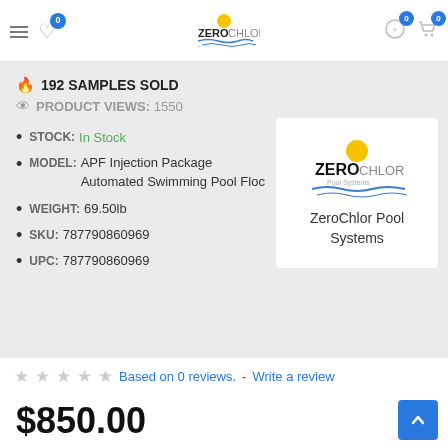ZeroChlor header with navigation icons and logo
🔥 192 SAMPLES SOLD
👁 PRODUCT VIEWS: 1550
STOCK: In Stock
MODEL: APF Injection Package Automated Swimming Pool Floc
WEIGHT: 69.50lb
SKU: 787790860969
UPC: 787790860969
[Figure (logo): ZeroChlor Pool Systems logo with sun and wave graphic]
ZeroChlor Pool Systems
☆☆☆☆☆ Based on 0 reviews. - Write a review
$850.00